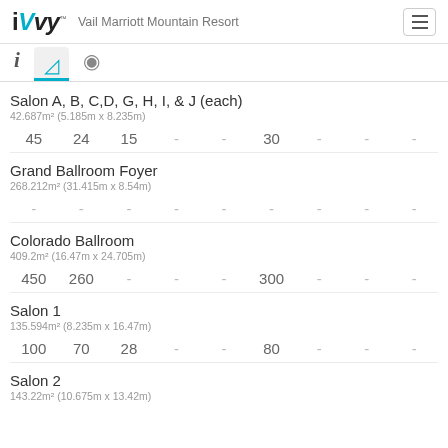iVvy - Vail Marriott Mountain Resort
Salon A, B, C,D, G, H, I, & J (each)
42.687m² (5.185m x 8.235m)
45  24  15  -  -  30  -  -  -
Grand Ballroom Foyer
268.212m² (31.415m x 8.54m)
-  -  -  -  -  -  -  -  -
Colorado Ballroom
409.2m² (16.47m x 24.705m)
450  260  -  -  -  300  -  -  -
Salon 1
135.594m² (8.235m x 16.47m)
100  70  28  -  -  80  -  -  -
Salon 2
143.22m² (10.675m x 13.42m)